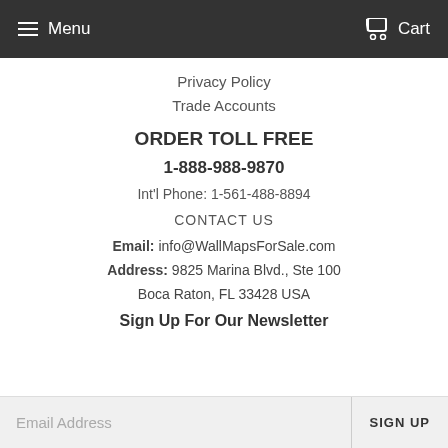Menu   Cart
Privacy Policy
Trade Accounts
ORDER TOLL FREE
1-888-988-9870
Int'l Phone: 1-561-488-8894
CONTACT US
Email: info@WallMapsForSale.com
Address: 9825 Marina Blvd., Ste 100
Boca Raton, FL 33428 USA
Sign Up For Our Newsletter
Email Address   SIGN UP